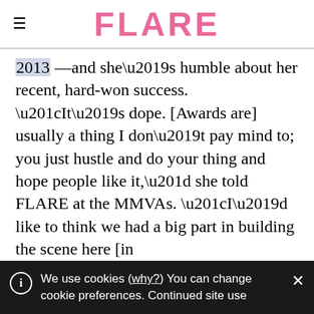FLARE
2013 —and she’s humble about her recent, hard-won success. “It’s dope. [Awards are] usually a thing I don’t pay mind to; you just hustle and do your thing and hope people like it,” she told FLARE at the MMVAs. “I’d like to think we had a big part in building the scene here [in Toronto]…It’s a small enough community that you know everybody. Everyone gets excited for each other.”
We use cookies (why?) You can change cookie preferences. Continued site use